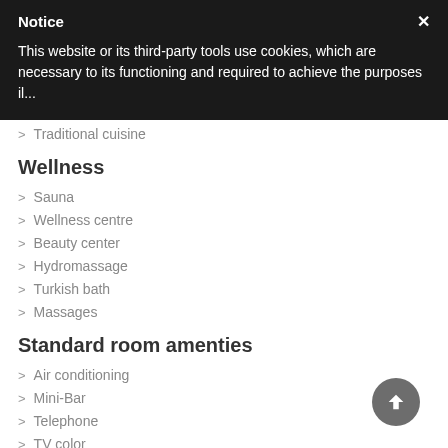Notice
This website or its third-party tools use cookies, which are necessary to its functioning and required to achieve the purposes il...
> Traditional cuisine
Wellness
> Sauna
> Wellness centre
> Beauty center
> Hydromassage
> Turkish bath
> Massages
Standard room amenties
> Air conditioning
> Mini-Bar
> Telephone
> TV color
> Hair dryer
> En suite Bathroom
> Safe